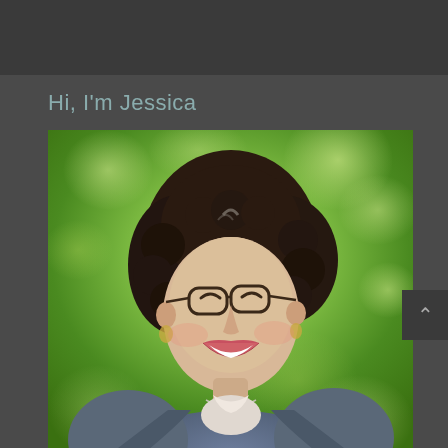Hi, I'm Jessica
[Figure (photo): Portrait photograph of a smiling woman with dark curly hair, glasses, earrings, and a denim jacket, photographed outdoors against a blurred green background.]